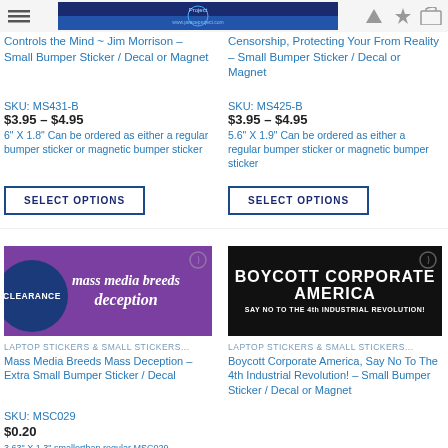[Figure (photo): Top banner/header image with dark blue crowd/globe background and website logo]
Controls the Mind ~ Jim Morrison – Small Bumper Sticker / Decal or Magnet
SKU: MS431-B
$3.95 – $4.95
6" X 1.8" Can be ordered as either a regular bumper sticker or magnetic bumper sticker
SELECT OPTIONS
Censorship, Protecting Your From Reality – Small Bumper Sticker / Decal or Magnet
SKU: MS425-B
$3.95 – $4.95
5.6" X 1.9" Can be ordered as either a regular bumper sticker or magnetic bumper sticker
SELECT OPTIONS
[Figure (photo): Purple sticker with white italic text 'mass media breeds deception' and a clearance badge overlay]
LAPTOP STICKERS & SMALL STICKERS...
Mass Media Breeds Mass Deception – Extra Small Bumper Sticker / Decal
SKU: MSC029
$0.20
3.63" X 1.3" smallerthan regular MSC029
[Figure (photo): Black sticker with bold white text 'BOYCOTT CORPORATE AMERICA SAY NO TO THE 4th INDUSTRIAL REVOLUTION!']
LAPTOP STICKERS & SMALL STICKERS...
Boycott Corporate America, Say No To The 4th Industrial Revolution! – Small Bumper Sticker / Decal or Magnet